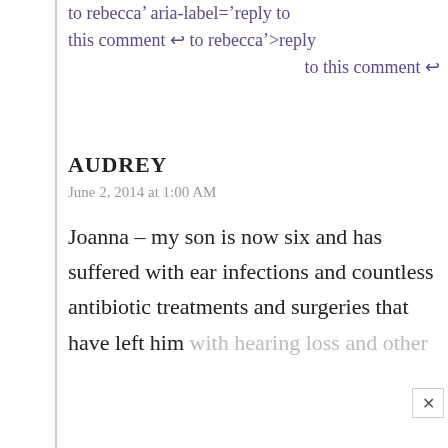to rebecca' aria-label='reply to this comment ↩ to rebecca'>reply to this comment ↩
AUDREY
June 2, 2014 at 1:00 AM
Joanna – my son is now six and has suffered with ear infections and countless antibiotic treatments and surgeries that have left him with hearing loss and other